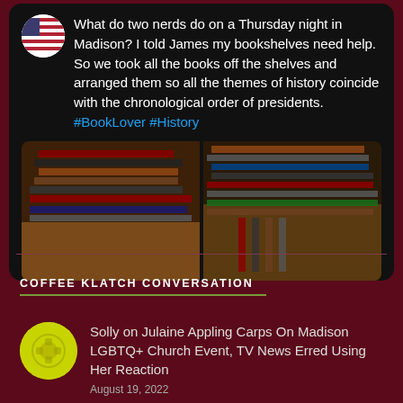What do two nerds do on a Thursday night in Madison? I told James my bookshelves need help. So we took all the books off the shelves and arranged them so all the themes of history coincide with the chronological order of presidents. #BookLover #History
[Figure (photo): Two photos of books arranged on the floor - left photo shows books stacked on hardwood floor, right photo shows more books spread across the floor]
COFFEE KLATCH CONVERSATION
Solly on Julaine Appling Carps On Madison LGBTQ+ Church Event, TV News Erred Using Her Reaction
August 19, 2022